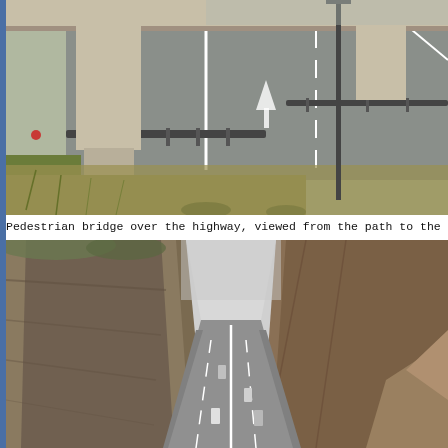[Figure (photo): Aerial/side view of a pedestrian bridge over a highway with concrete pillars, green grass, guardrails, and multiple lanes of asphalt road with white lane markings.]
Pedestrian bridge over the highway, viewed from the path to the uppe
[Figure (photo): Highway cutting through steep rocky mountain cliffs on both sides, with cars visible on the road, overcast sky, and autumn-colored vegetation.]